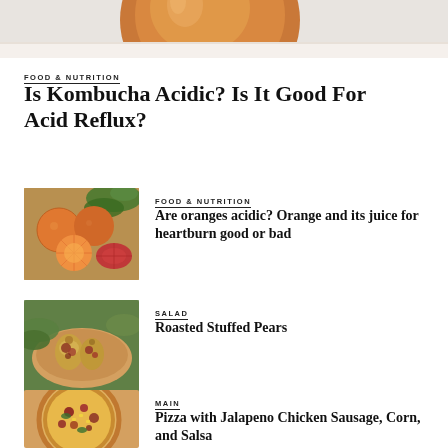[Figure (photo): Top portion of a kombucha drink in a rounded glass jar/bottle, orange-amber color on a light background]
FOOD & NUTRITION
Is Kombucha Acidic? Is It Good For Acid Reflux?
[Figure (photo): Oranges, tangerines, and citrus fruits sliced on a wooden board with green leaves]
FOOD & NUTRITION
Are oranges acidic? Orange and its juice for heartburn good or bad
[Figure (photo): Roasted stuffed pears on a plate with lettuce leaves]
SALAD
Roasted Stuffed Pears
[Figure (photo): Pizza with jalapeno chicken sausage, corn, and salsa toppings]
MAIN
Pizza with Jalapeno Chicken Sausage, Corn, and Salsa